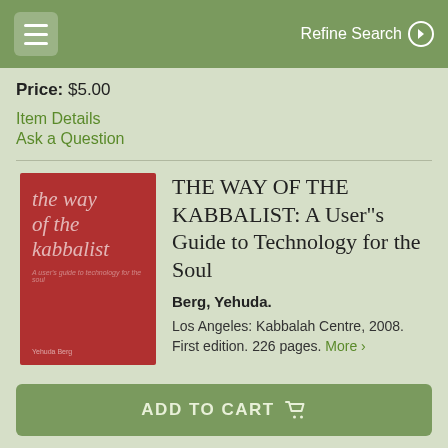Refine Search
Price: $5.00
Item Details
Ask a Question
[Figure (illustration): Book cover of 'the way of the kabbalist' — red background with white/light italic text]
THE WAY OF THE KABBALIST: A User"s Guide to Technology for the Soul
Berg, Yehuda.
Los Angeles: Kabbalah Centre, 2008. First edition. 226 pages. More ›
ADD TO CART